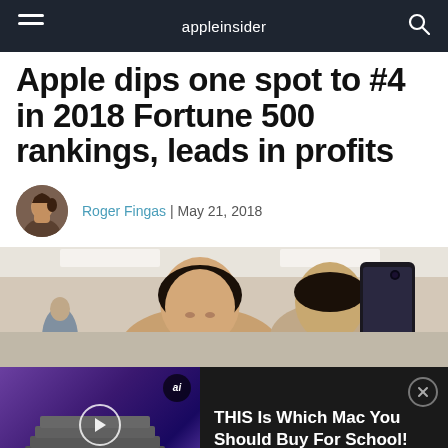appleinsider
Apple dips one spot to #4 in 2018 Fortune 500 rankings, leads in profits
Roger Fingas | May 21, 2018
[Figure (photo): People in an Apple Store taking a selfie with a smartphone]
[Figure (screenshot): Video ad overlay: 'THIS Is Which Mac You Should Buy For School! 2022 Edition!' with thumbnail showing stacked MacBooks, labeled 'Best Mac for College']